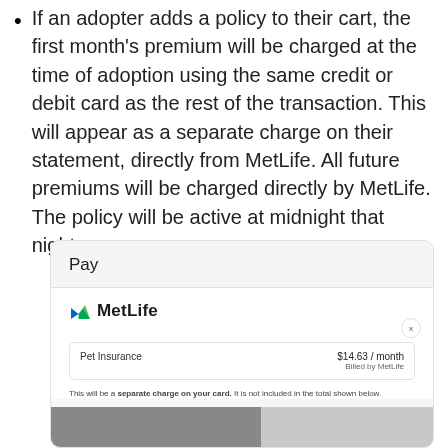If an adopter adds a policy to their cart, the first month's premium will be charged at the time of adoption using the same credit or debit card as the rest of the transaction. This will appear as a separate charge on their statement, directly from MetLife. All future premiums will be charged directly by MetLife. The policy will be active at midnight that night.
[Figure (screenshot): A UI screenshot showing a 'Pay' section with MetLife pet insurance. Shows 'Pet Insurance $14.63 / month Billed by MetLife' in a card with an X close button. Below states 'This will be a separate charge on your card. It is not included in the total shown below.' A partial cat photo appears at the bottom.]